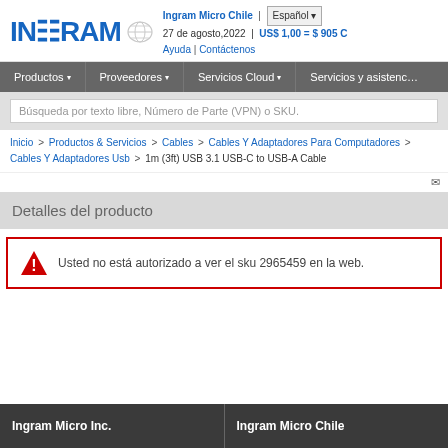[Figure (logo): Ingram Micro logo in blue with globe icon]
Ingram Micro Chile | Español
27 de agosto,2022 | US$ 1,00 = $ 905 C
Ayuda | Contáctenos
Productos ▾   Proveedores ▾   Servicios Cloud ▾   Servicios y asistenc...
Búsqueda por texto libre, Número de Parte (VPN) o SKU.
Inicio > Productos & Servicios > Cables > Cables Y Adaptadores Para Computadores > Cables Y Adaptadores Usb > 1m (3ft) USB 3.1 USB-C to USB-A Cable
Detalles del producto
Usted no está autorizado a ver el sku 2965459 en la web.
Ingram Micro Inc.   |   Ingram Micro Chile